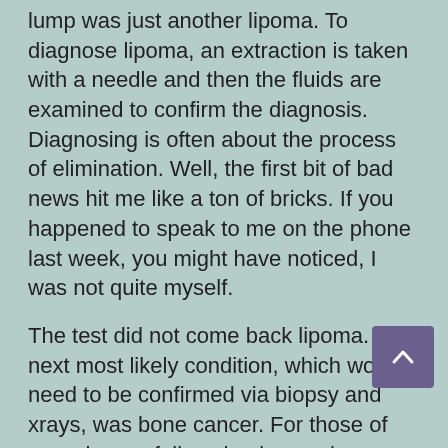lump was just another lipoma. To diagnose lipoma, an extraction is taken with a needle and then the fluids are examined to confirm the diagnosis. Diagnosing is often about the process of elimination. Well, the first bit of bad news hit me like a ton of bricks. If you happened to speak to me on the phone last week, you might have noticed, I was not quite myself.
The test did not come back lipoma. The next most likely condition, which would need to be confirmed via biopsy and xrays, was bone cancer. For those of you who are fellow dog lovers, bone cancer is up there with just about the worst news possible. It is often not curable, spreads quickly and the best one can do is to keep their pet comfortable at that point.
We scheduled the biopsy for the next morning...